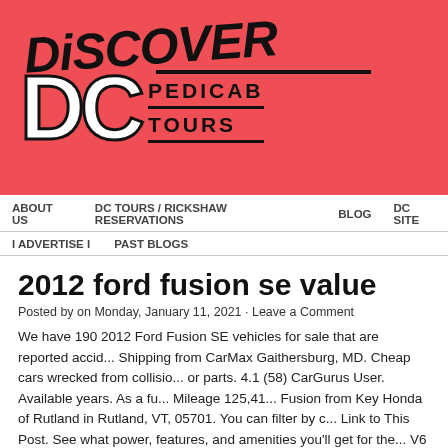[Figure (logo): Discover DC Pedicab Tours logo on red background. Bold italic 'DiSCOVER' text above large white 'DC' letters with black stroke, beside 'PEDICAB TOURS' text in black with horizontal lines.]
ABOUT US   DC TOURS / RICKSHAW RESERVATIONS   BLOG   DC SITE
I ADVERTISE I   PAST BLOGS
2012 ford fusion se value
Posted by on Monday, January 11, 2021 · Leave a Comment
We have 190 2012 Ford Fusion SE vehicles for sale that are reported accid... Shipping from CarMax Gaithersburg, MD. Cheap cars wrecked from collisio... or parts. 4.1 (58) CarGurus User. Available years. As a fu... Mileage 125,41... Fusion from Key Honda of Rutland in Rutland, VT, 05701. You can filter by c... Link to This Post. See what power, features, and amenities you'll get for the... V6 14,377 Est. See your local dealer for actual pricing, annual percentage...